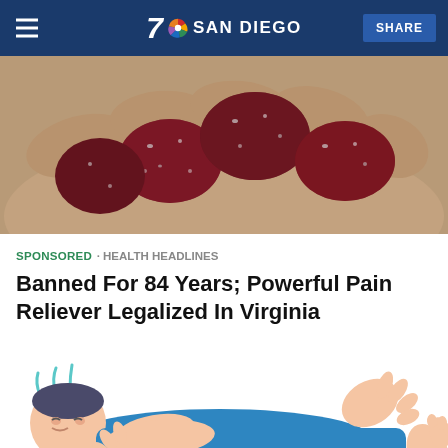7 SAN DIEGO  SHARE
[Figure (photo): A hand holding several dark red sugar-coated gummy candies]
SPONSORED · HEALTH HEADLINES
Banned For 84 Years; Powerful Pain Reliever Legalized In Virginia
[Figure (illustration): Cartoon illustration of a person lying down in pain, depicted in blue clothing with teal hair lines indicating discomfort, and a foot raised on the right side]